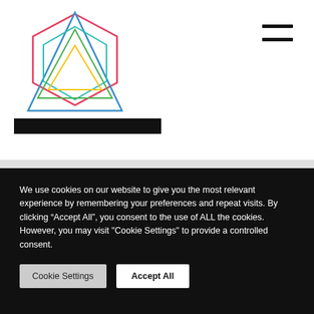[Figure (logo): Colorful geometric logo with overlapping triangle and hexagon shapes in red, blue, green, yellow outlines]
[Figure (other): Hamburger menu icon (two horizontal bars) in top right]
We use cookies on our website to give you the most relevant experience by remembering your preferences and repeat visits. By clicking “Accept All”, you consent to the use of ALL the cookies. However, you may visit "Cookie Settings" to provide a controlled consent.
Cookie Settings
Accept All